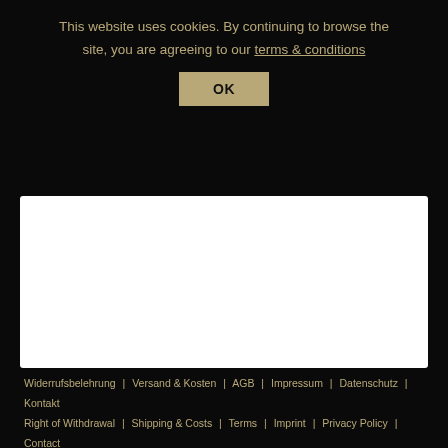This website uses cookies. By continuing to browse the site, you are agreeing to our terms & conditions
OK
[Figure (other): White content box area]
Widerrufsbelehrung | Versand & Kosten | AGB | Impressum | Datenschutz | Kontakt
Right of Withdrawal | Shipping & Costs | Terms | Imprint | Privacy Policy | Contact
B74 SELECTED GOODS · Berliner Straße 74 · 60311 Frankfurt · Germany
[Figure (other): Social media icons: Facebook, Twitter, Instagram]